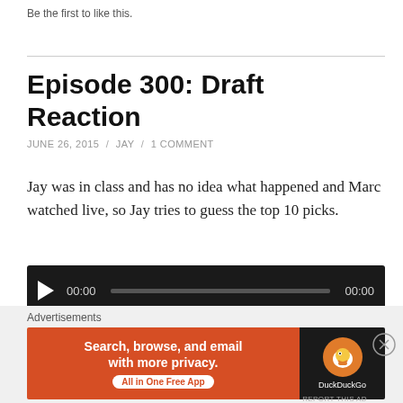Be the first to like this.
Episode 300: Draft Reaction
JUNE 26, 2015 / JAY / 1 COMMENT
Jay was in class and has no idea what happened and Marc watched live, so Jay tries to guess the top 10 picks.
[Figure (other): Audio player with play button, 00:00 timestamp, progress bar, and 00:00 end time on a black background]
Share this:
[Figure (other): Advertisement banner: DuckDuckGo ad with orange background reading 'Search, browse, and email with more privacy. All in One Free App' with DuckDuckGo logo on dark background]